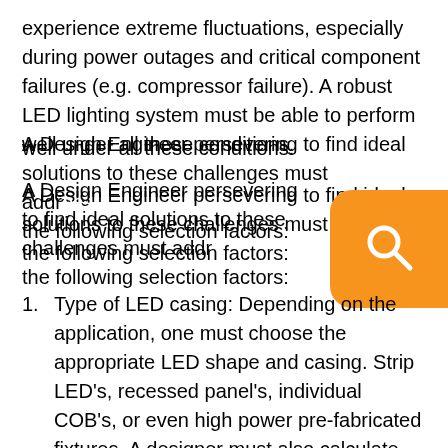experience extreme fluctuations, especially during power outages and critical component failures (e.g. compressor failure). A robust LED lighting system must be able to perform well under all these conditions.
A Design Engineer persevering to find ideal solutions to these challenges must address the following selection factors:
[Figure (other): Orange rounded rectangle button with a white magnifying glass search icon]
Type of LED casing: Depending on the application, one must choose the appropriate LED shape and casing. Strip LED's, recessed panel's, individual COB's, or even high power pre-fabricated fixtures. A designer must also calculate the beam angle and lumen output for